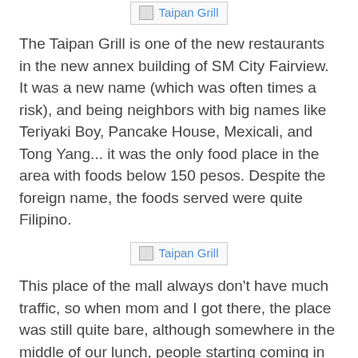[Figure (photo): Taipan Grill image placeholder at top]
The Taipan Grill is one of the new restaurants in the new annex building of SM City Fairview. It was a new name (which was often times a risk), and being neighbors with big names like Teriyaki Boy, Pancake House, Mexicali, and Tong Yang... it was the only food place in the area with foods below 150 pesos. Despite the foreign name, the foods served were quite Filipino.
[Figure (photo): Taipan Grill image placeholder in middle]
This place of the mall always don't have much traffic, so when mom and I got there, the place was still quite bare, although somewhere in the middle of our lunch, people starting coming in as well. So many choices, but we went for:
[Figure (photo): Chicken Barbecue image placeholder]
Grilled Chicken Drumwing with Rice (p95). The chicken tasted okay, typical Pinoy style chicken barbecue... the only